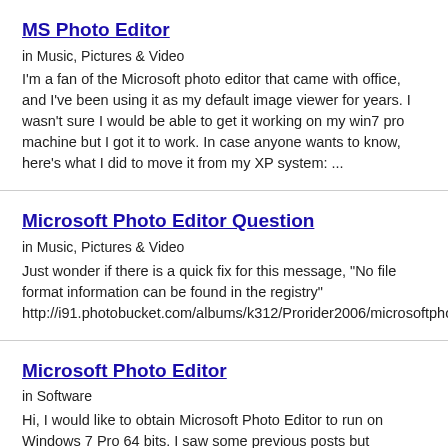MS Photo Editor
in Music, Pictures & Video
I'm a fan of the Microsoft photo editor that came with office, and I've been using it as my default image viewer for years. I wasn't sure I would be able to get it working on my win7 pro machine but I got it to work. In case anyone wants to know, here's what I did to move it from my XP system: ...
Microsoft Photo Editor Question
in Music, Pictures & Video
Just wonder if there is a quick fix for this message, "No file format information can be found in the registry" http://i91.photobucket.com/albums/k312/Prorider2006/microsoftphotoeditor_zps92f234ba.jpg
Microsoft Photo Editor
in Software
Hi, I would like to obtain Microsoft Photo Editor to run on Windows 7 Pro 64 bits. I saw some previous posts but